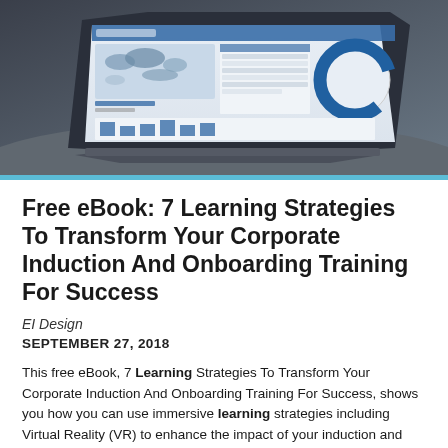[Figure (photo): Hero image of a laptop displaying a dashboard with charts including a world map, data table, and a donut/circle chart, shown at an angle on a dark surface.]
Free eBook: 7 Learning Strategies To Transform Your Corporate Induction And Onboarding Training For Success
EI Design
SEPTEMBER 27, 2018
This free eBook, 7 Learning Strategies To Transform Your Corporate Induction And Onboarding Training For Success, shows you how you can use immersive learning strategies including Virtual Reality (VR) to enhance the impact of your induction and onboarding training. Why You Should Read '7 Learning Strategies To Transform Your Corporate Induction And Onboarding Training For Success' We are aware of the